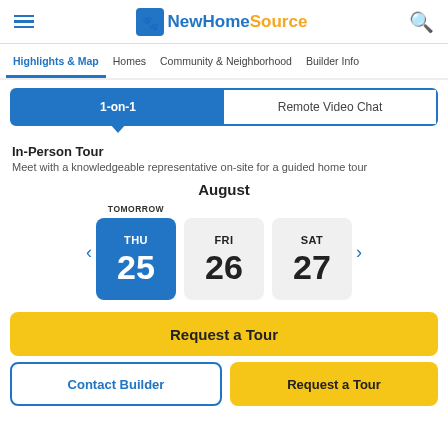NewHomeSource
Highlights & Map | Homes | Community & Neighborhood | Builder Info
1-on-1 | Remote Video Chat
In-Person Tour
Meet with a knowledgeable representative on-site for a guided home tour
August
TOMORROW THU 25 | FRI 26 | SAT 27
Request a Tour
Contact Builder
Request a Tour